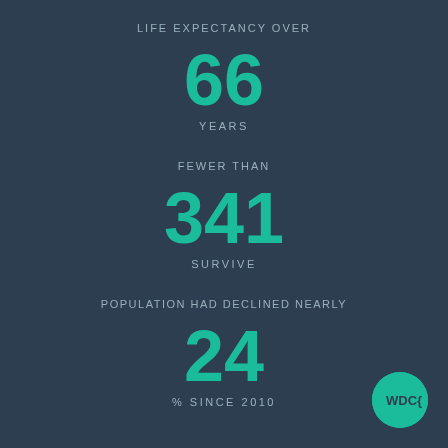LIFE EXPECTANCY OVER
66
YEARS
FEWER THAN
341
SURVIVE
POPULATION HAD DECLINED NEARLY
24
% SINCE 2010
[Figure (logo): WDC logo, teal circle with WDC{ text in dark color]